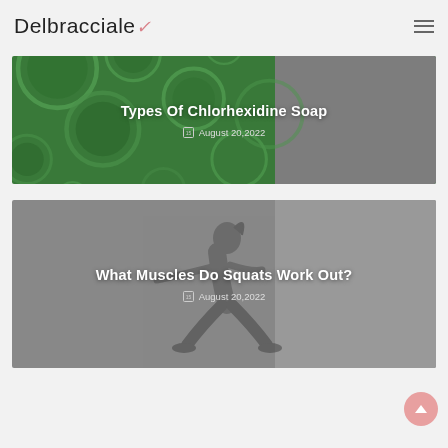Delbracciale
[Figure (illustration): Blog post card with dark green bubble/cell texture background on the left and gray on the right, titled 'Types Of Chlorhexidine Soap', dated August 20,2022]
Types Of Chlorhexidine Soap
August 20,2022
[Figure (photo): Blog post card with gray background showing a woman doing a squat exercise, titled 'What Muscles Do Squats Work Out?', dated August 20,2022]
What Muscles Do Squats Work Out?
August 20,2022